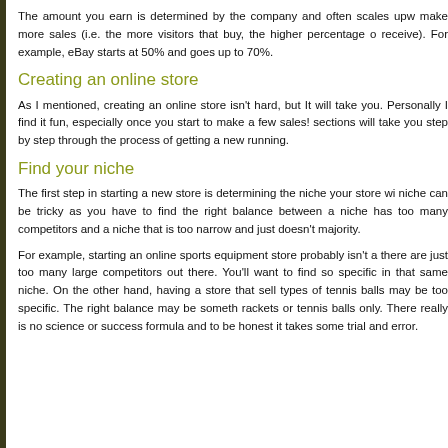The amount you earn is determined by the company and often scales upw make more sales (i.e. the more visitors that buy, the higher percentage o receive). For example, eBay starts at 50% and goes up to 70%.
Creating an online store
As I mentioned, creating an online store isn't hard, but It will take you. Personally I find it fun, especially once you start to make a few sales! sections will take you step by step through the process of getting a new running.
Find your niche
The first step in starting a new store is determining the niche your store wi niche can be tricky as you have to find the right balance between a niche has too many competitors and a niche that is too narrow and just doesn't majority.
For example, starting an online sports equipment store probably isn't a there are just too many large competitors out there. You'll want to find so specific in that same niche. On the other hand, having a store that sell types of tennis balls may be too specific. The right balance may be someth rackets or tennis balls only. There really is no science or success formula and to be honest it takes some trial and error.